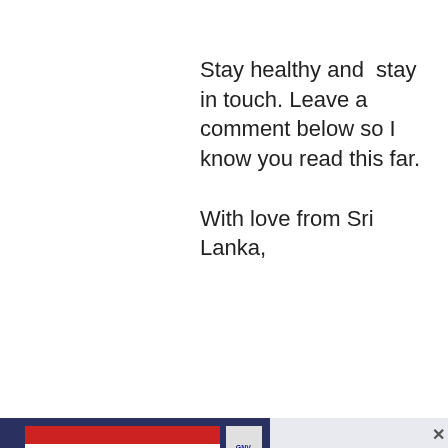Stay healthy and  stay in touch. Leave a comment below so I know you read this far.
With love from Sri Lanka,
[Figure (photo): Popup overlay with left panel showing martial arts/travel group photo with text 'Join the Travel Like a Boss Army' and sign-up description, and right panel with email input field and 'JOIN TODAY!' button]
Enter your email address
JOIN TODAY!